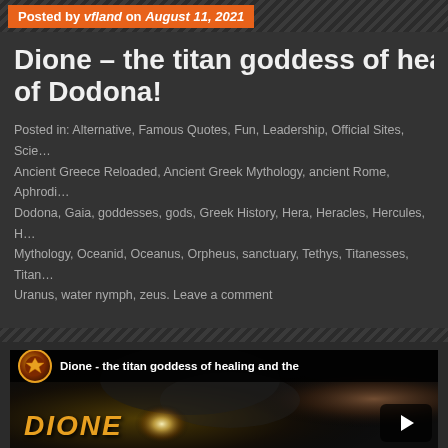Posted by vfland on August 11, 2021
Dione – the titan goddess of healing and the oracle of Dodona!
Posted in: Alternative, Famous Quotes, Fun, Leadership, Official Sites, Science | Tagged: Ancient Greece Reloaded, Ancient Greek Mythology, ancient Rome, Aphrodite, Dodona, Gaia, goddesses, gods, Greek History, Hera, Heracles, Hercules, Mythology, Oceanid, Oceanus, Orpheus, sanctuary, Tethys, Titanesses, Titans, Uranus, water nymph, zeus. Leave a comment
[Figure (screenshot): YouTube embedded video thumbnail showing Dione - the titan goddess of healing and the oracle of Dodona, with channel icon, video title bar, fantasy artwork background, DIONE text overlay, and play button]